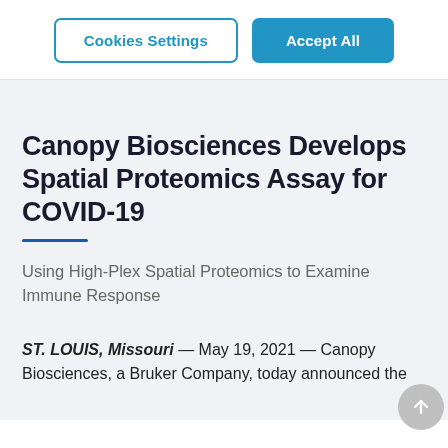Cookies Settings | Accept All
Canopy Biosciences Develops Spatial Proteomics Assay for COVID-19
Using High-Plex Spatial Proteomics to Examine Immune Response
ST. LOUIS, Missouri — May 19, 2021 — Canopy Biosciences, a Bruker Company, today announced the